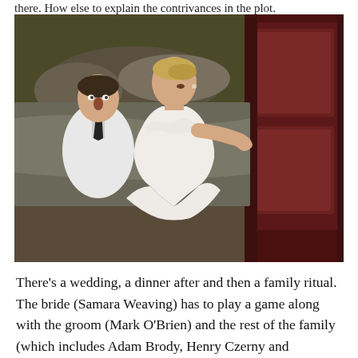there. How else to explain the contrivances in the plot.
[Figure (photo): A woman in a white lace wedding dress crouches near a dark red wooden bed headboard, leaning toward it with her face close to the wood. Behind her, a man in a white suit and black tie sits or lies on the bed looking startled or alarmed. The room has dark upholstered furniture and pillows.]
There’s a wedding, a dinner after and then a family ritual. The bride (Samara Weaving) has to play a game along with the groom (Mark O’Brien) and the rest of the family (which includes Adam Brody, Henry Czerny and